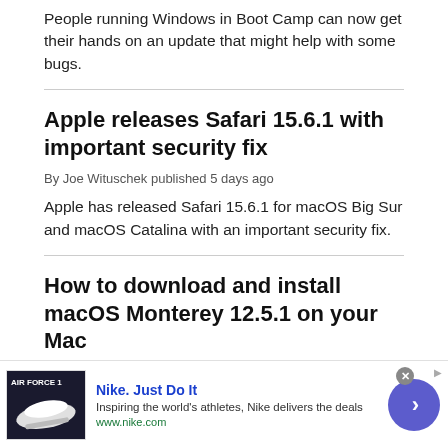People running Windows in Boot Camp can now get their hands on an update that might help with some bugs.
Apple releases Safari 15.6.1 with important security fix
By Joe Wituschek published 5 days ago
Apple has released Safari 15.6.1 for macOS Big Sur and macOS Catalina with an important security fix.
How to download and install macOS Monterey 12.5.1 on your Mac
[Figure (other): Nike advertisement banner showing Air Force 1 sneakers with text 'Nike. Just Do It', tagline 'Inspiring the world's athletes, Nike delivers the deals', URL www.nike.com, and a circular CTA button with arrow]